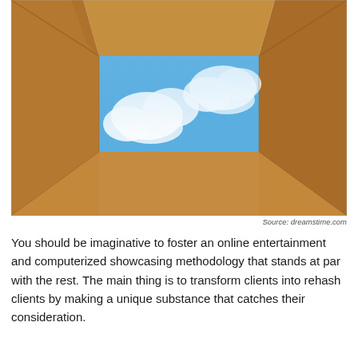[Figure (photo): View looking up from inside an open cardboard box at a blue sky with white clouds visible through the opening at the top.]
Source: dreamstime.com
You should be imaginative to foster an online entertainment and computerized showcasing methodology that stands at par with the rest. The main thing is to transform clients into rehash clients by making a unique substance that catches their consideration.